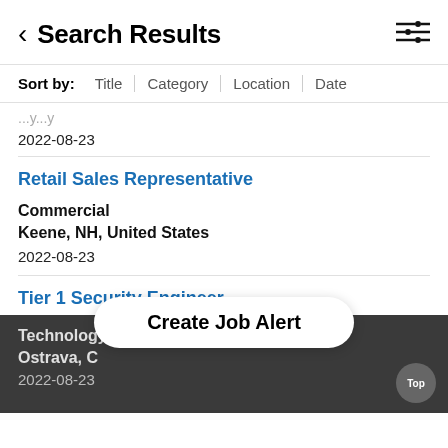Search Results
Sort by: Title | Category | Location | Date
2022-08-23
Retail Sales Representative
Commercial
Keene, NH, United States
2022-08-23
Tier 1 Security Engineer
Technology
Ostrava, C
2022-08-23
Create Job Alert